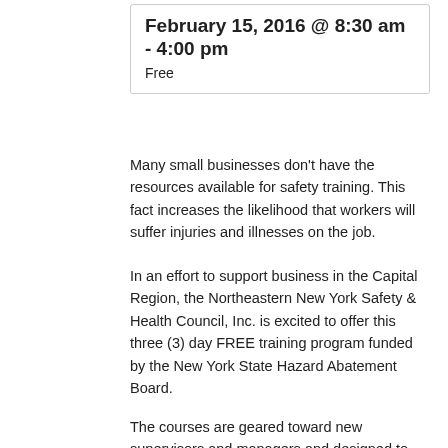February 15, 2016 @ 8:30 am - 4:00 pm
Free
Many small businesses don’t have the resources available for safety training. This fact increases the likelihood that workers will suffer injuries and illnesses on the job.
In an effort to support business in the Capital Region, the Northeastern New York Safety & Health Council, Inc. is excited to offer this three (3) day FREE training program funded by the New York State Hazard Abatement Board.
The courses are geared toward new supervisors and managers and designed to help these businesses reduce injuries and costs, now and into the future.
The three (3) courses will be offered on separate days, during a one week period and while meant to build upon one other, can be taken individually.
Please consider when registering that enrollment will be limited to 30 students per class. This will allow for a high l...